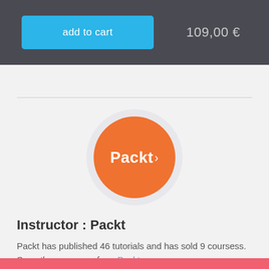[Figure (other): Add to cart button (blue/cyan) with text 'add to cart' on dark grey background bar, with price '109,00 €' on the right]
[Figure (logo): Packt publisher logo: orange circle with white 'Packt>' text, inside a light grey circle]
Instructor : Packt
Packt has published 46 tutorials and has sold 9 coursess. See others courses from Packt